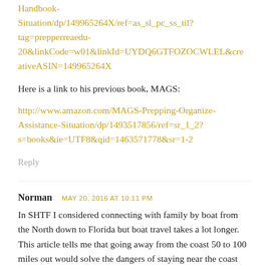Handbook-Situation/dp/149965264X/ref=as_sl_pc_ss_til?tag=prepperreaedu-20&linkCode=w01&linkId=UYDQ6GTFOZOCWLEL&creativeASIN=149965264X
Here is a link to his previous book, MAGS:
http://www.amazon.com/MAGS-Prepping-Organize-Assistance-Situation/dp/1493517856/ref=sr_1_2?s=books&ie=UTF8&qid=1463571778&sr=1-2
Reply
Norman   MAY 20, 2016 AT 10:11 PM
In SHTF I considered connecting with family by boat from the North down to Florida but boat travel takes a lot longer. This article tells me that going away from the coast 50 to 100 miles out would solve the dangers of staying near the coast but, alas!, it would make the trip even longer. Such is life. Maybe we'll come up soon